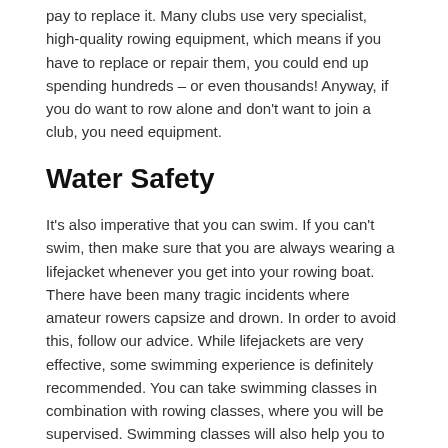pay to replace it. Many clubs use very specialist, high-quality rowing equipment, which means if you have to replace or repair them, you could end up spending hundreds – or even thousands! Anyway, if you do want to row alone and don't want to join a club, you need equipment.
Water Safety
It's also imperative that you can swim. If you can't swim, then make sure that you are always wearing a lifejacket whenever you get into your rowing boat. There have been many tragic incidents where amateur rowers capsize and drown. In order to avoid this, follow our advice. While lifejackets are very effective, some swimming experience is definitely recommended. You can take swimming classes in combination with rowing classes, where you will be supervised. Swimming classes will also help you to get in shape.
Health Insurance
Water sports like rowing come with a lot of risks, as we have already mentioned. It's this risk that often leads to people exclusively using rowing machines. If you are concerned about your health, won't use a rowing machine, but still want to get stuck in, then it's definitely worth checking out health and life insurance. These policies will ensure that should anything